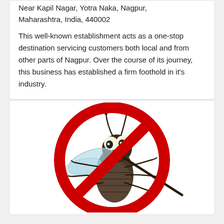Near Kapil Nagar, Yotra Naka, Nagpur, Maharashtra, India, 440002
This well-known establishment acts as a one-stop destination servicing customers both local and from other parts of Nagpur. Over the course of its journey, this business has established a firm foothold in it's industry.
[Figure (illustration): A cartoon illustration of a mosquito with a 'no' symbol (red circle with diagonal red slash) overlaid on it, indicating pest control or mosquito elimination service.]